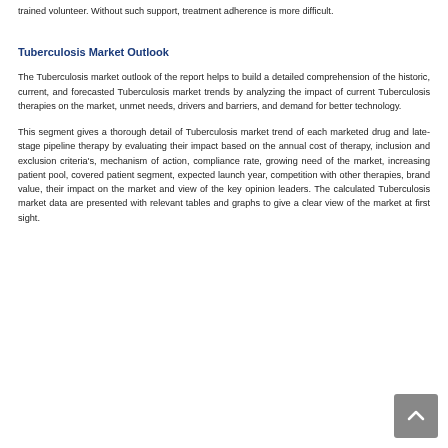trained volunteer. Without such support, treatment adherence is more difficult.
Tuberculosis Market Outlook
The Tuberculosis market outlook of the report helps to build a detailed comprehension of the historic, current, and forecasted Tuberculosis market trends by analyzing the impact of current Tuberculosis therapies on the market, unmet needs, drivers and barriers, and demand for better technology.
This segment gives a thorough detail of Tuberculosis market trend of each marketed drug and late-stage pipeline therapy by evaluating their impact based on the annual cost of therapy, inclusion and exclusion criteria's, mechanism of action, compliance rate, growing need of the market, increasing patient pool, covered patient segment, expected launch year, competition with other therapies, brand value, their impact on the market and view of the key opinion leaders. The calculated Tuberculosis market data are presented with relevant tables and graphs to give a clear view of the market at first sight.